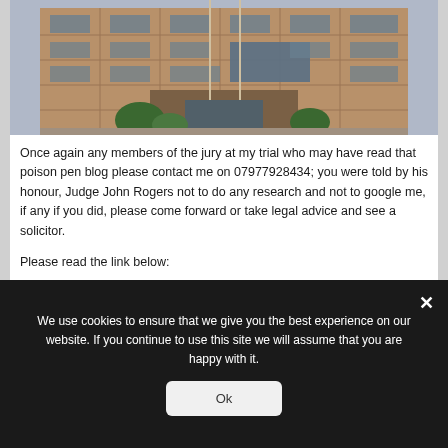[Figure (photo): Exterior photograph of a large brutalist/modern court building with flagpoles in front]
Once again any members of the jury at my trial who may have read that poison pen blog please contact me on 07977928434; you were told by his honour, Judge John Rogers not to do any research and not to google me, if any if you did, please come forward or take legal advice and see a solicitor.
Please read the link below:
We use cookies to ensure that we give you the best experience on our website. If you continue to use this site we will assume that you are happy with it.